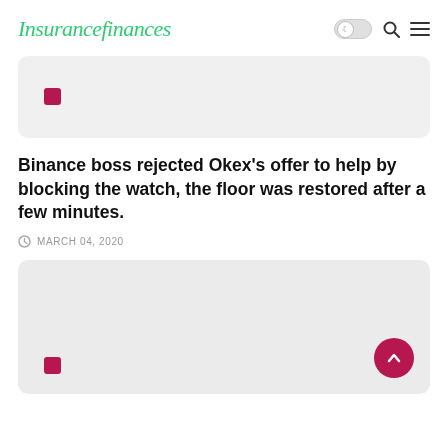Insurancefinances
[Figure (other): Card image placeholder with a small magenta square icon, light gray background, rounded corners]
Binance boss rejected Okex's offer to help by blocking the watch, the floor was restored after a few minutes.
MARCH 04, 2020
[Figure (other): Card image placeholder with a small magenta square icon at bottom left, light gray background, rounded corners, with a magenta scroll-to-top button at bottom right]